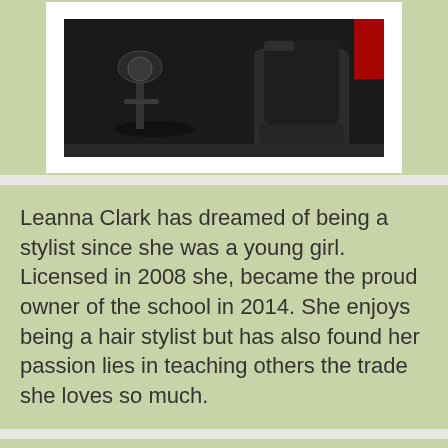[Figure (photo): Photo of a hair salon interior with chairs and styling equipment, dark background]
Leanna Clark has dreamed of being a stylist since she was a young girl. Licensed in 2008 she, became the proud owner of the school in 2014. She enjoys being a hair stylist but has also found her passion lies in teaching others the trade she loves so much.
Trish kirkwood
Instructor